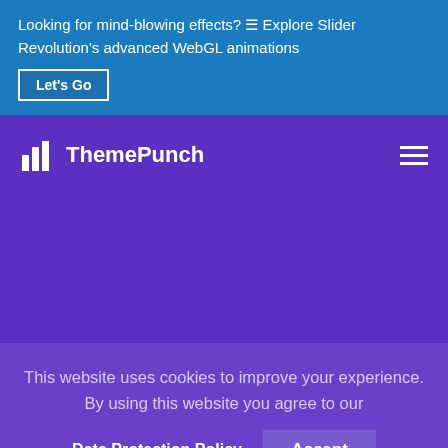Looking for mind-blowing effects? ☰ Explore Slider Revolution's advanced WebGL animations
Let's Go
[Figure (logo): ThemePunch logo with bar chart icon and text 'ThemePunch']
[Figure (other): Hamburger menu icon (three horizontal lines)]
This website uses cookies to improve your experience. By using this website you agree to our
Data Protection Policy.
Accept